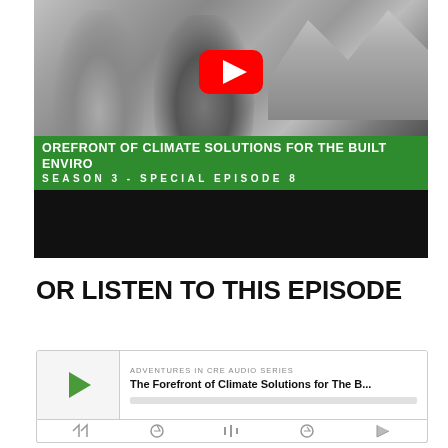[Figure (screenshot): YouTube video thumbnail showing two men standing outdoors in a mountainous greyscale setting with a red YouTube play button overlay. A green banner reads 'OREFRONT OF CLIMATE SOLUTIONS FOR THE BUILT ENVIRO' and below it 'SEASON 3 - SPECIAL EPISODE 8'. A black bar appears at the bottom of the thumbnail.]
OR LISTEN TO THIS EPISODE
[Figure (screenshot): Podcast player widget showing a play button on the left and on the right the series name 'ADVENTURES IN CRE AUDIO SERIES' and episode title 'The Forefront of Climate Solutions for The B...' with a grey progress bar below.]